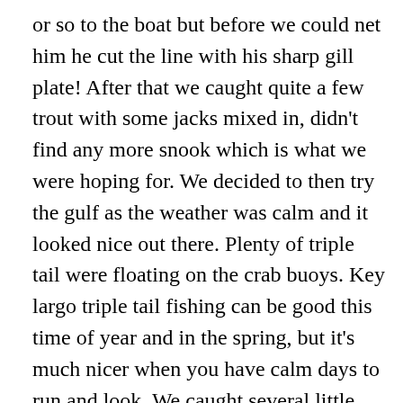or so to the boat but before we could net him he cut the line with his sharp gill plate!  After that we caught quite a few trout with some jacks mixed in, didn't find any more snook which is what we were hoping for.  We decided to then try the gulf as the weather was calm and it looked nice out there.  Plenty of triple tail were floating on the crab buoys.  Key largo triple tail fishing can be good this time of year and in the spring, but it's much nicer when you have calm days to run and look.  We caught several little guys and eventually got a keeper.  Then we found a monster that was close to 15 lbs!  We hooked him and had him boat side, but unfortunately the hook pulled on him.  Bad luck!  We shook it off and then we gave some